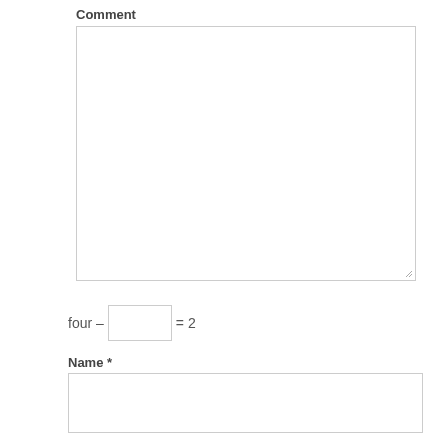Comment
[Figure (other): Large empty comment textarea with resize handle at bottom-right]
Name *
[Figure (other): Empty name input text field]